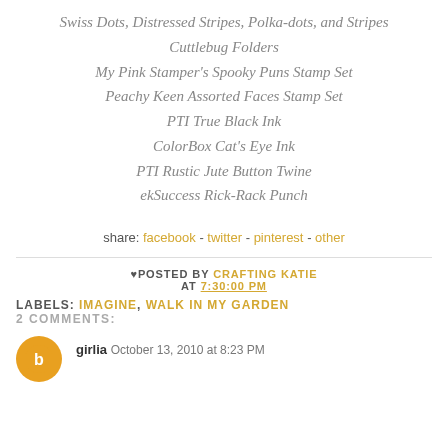Swiss Dots, Distressed Stripes, Polka-dots, and Stripes Cuttlebug Folders
My Pink Stamper's Spooky Puns Stamp Set
Peachy Keen Assorted Faces Stamp Set
PTI True Black Ink
ColorBox Cat's Eye Ink
PTI Rustic Jute Button Twine
ekSuccess Rick-Rack Punch
share: facebook - twitter - pinterest - other
♥POSTED BY CRAFTING KATIE AT 7:30:00 PM
LABELS: IMAGINE, WALK IN MY GARDEN
2 COMMENTS:
girlia October 13, 2010 at 8:23 PM